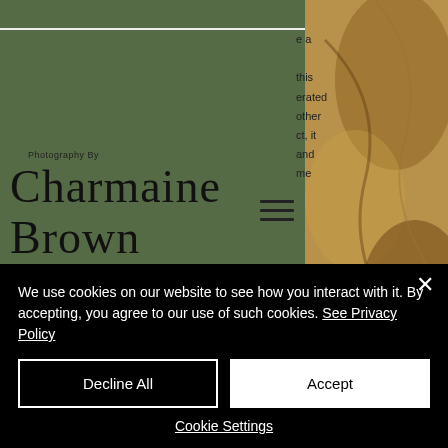[Figure (logo): Photography By Charmaine Brown Portrait Photography logo on dark olive green background]
[Figure (photo): Close-up nature or organic texture photo in warm brown/golden tones on right side]
bitstarz. О отзывов в партнерке казино от вебмастеров пока очень мало. Они отмечали качественную помощь со стороны техподдержки. "while bitstarz isn't
We use cookies on our website to see how you interact with it. By accepting, you agree to our use of such cookies. See Privacy Policy
Decline All
Accept
Cookie Settings